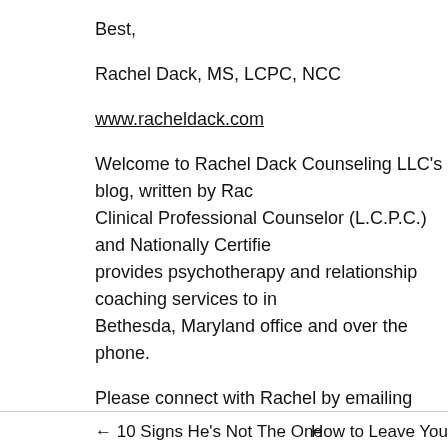Best,
Rachel Dack, MS, LCPC, NCC
www.racheldack.com
Welcome to Rachel Dack Counseling LLC's blog, written by Rachel Dack, Licensed Clinical Professional Counselor (L.C.P.C.) and Nationally Certified Counselor (NCC) who provides psychotherapy and relationship coaching services to individuals and couples from her Bethesda, Maryland office and over the phone.
Please connect with Rachel by emailing Rachel@RachelDack.com and following Rachel on twitter. Check back for more great resources and mental health tips!
This entry was posted in Anxiety, Dating, Emotional Well being, Happiness, In Positive Energy, Reflection, Relationships, Self-care and tagged 2013, 2014, single, breakups, compassion, couples, dating advice, dating tips, eharmony, intentions, intimacy, letting go, love, new year, reflection, rejection, relationships. Bookmark the permalink.
← 10 Signs He's Not The One
How to Leave You